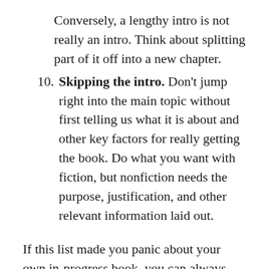Conversely, a lengthy intro is not really an intro. Think about splitting part of it off into a new chapter.
10. Skipping the intro. Don't jump right into the main topic without first telling us what it is about and other key factors for really getting the book. Do what you want with fiction, but nonfiction needs the purpose, justification, and other relevant information laid out.
If this list made you panic about your own in-progress book, you can always revise the introduction. In fact, I recommend it. With my own books, I write the intro first and then return to it much later in the process. I